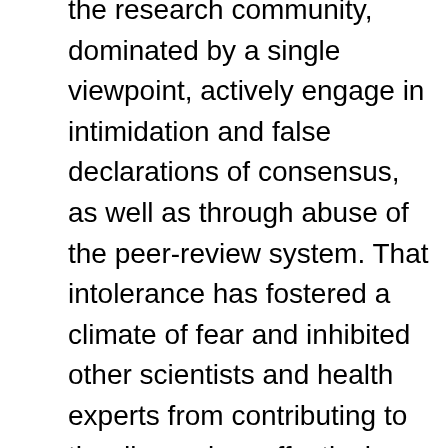the research community, dominated by a single viewpoint, actively engage in intimidation and false declarations of consensus, as well as through abuse of the peer-review system. That intolerance has fostered a climate of fear and inhibited other scientists and health experts from contributing to the discussion, effectively inducing self-censorship.
Today, after all that we have endured from this pandemic, we still must ask why so few were willing to speak out when the most disastrous health policies in history were foisted upon diverse and often...